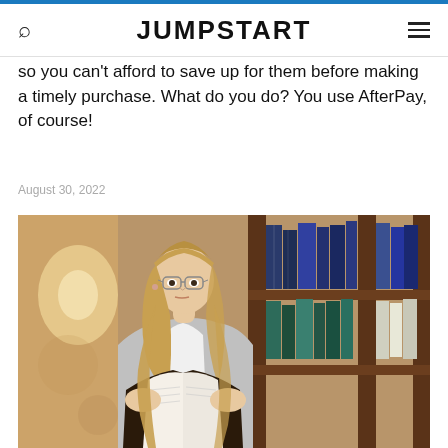JUMPSTART
so you can't afford to save up for them before making a timely purchase. What do you do? You use AfterPay, of course!
August 30, 2022
[Figure (photo): Young woman with glasses reading a book in a library, standing against a bookshelf filled with books]